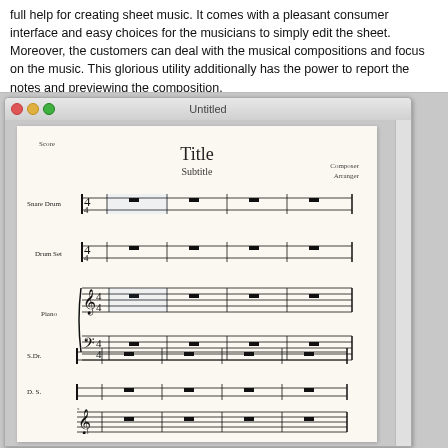full help for creating sheet music. It comes with a pleasant consumer interface and easy choices for the musicians to simply edit the sheet. Moreover, the customers can deal with the musical compositions and focus on the music. This glorious utility additionally has the power to report the notes and previewing the composition.
[Figure (screenshot): Screenshot of a sheet music editor application (MuseScore-like) showing a score titled 'Title' with 'Subtitle' and Composer/Arranger fields. The score contains staves for Snare Drum, Drum Set, and Piano (treble and bass clef), all with time signature 4/4. A second system below shows abbreviated instrument names S.Dr., D.S., and treble clef staff beginning.]